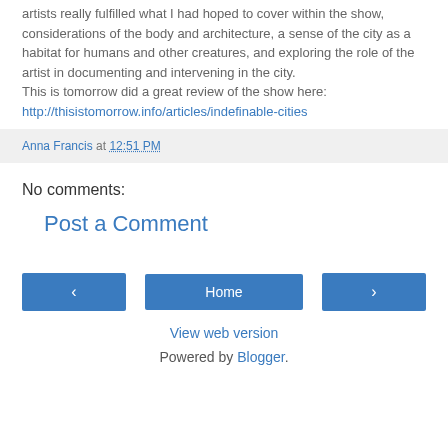artists really fulfilled what I had hoped to cover within the show, considerations of the body and architecture, a sense of the city as a habitat for humans and other creatures, and exploring the role of the artist in documenting and intervening in the city.
This is tomorrow did a great review of the show here:
http://thisistomorrow.info/articles/indefinable-cities
Anna Francis at 12:51 PM
No comments:
Post a Comment
‹  Home  ›  View web version  Powered by Blogger.